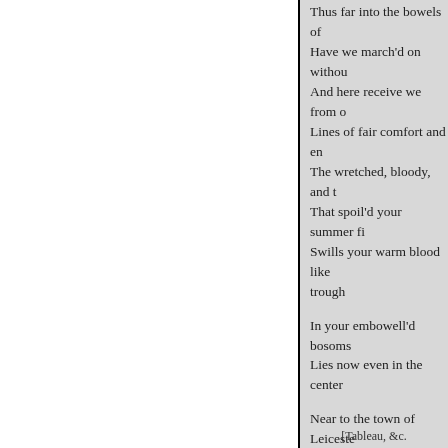Thus far into the bowels of
Have we march'd on withou
And here receive we from o
Lines of fair comfort and en
The wretched, bloody, and u
That spoil'd your summer fi
Swills your warm blood like
    trough

In your embowell'd bosoms
Lies now even in the center

Near to the town of Leiceste
From Tamworth thither is b
In God's name, cheerly on,
To reap the harvest of perpe
By this one bloody trial of s

  Orf. Every man's conscien
To fight against that bloody
  Herb. I doubt not, but his f
[Tableau, &c.